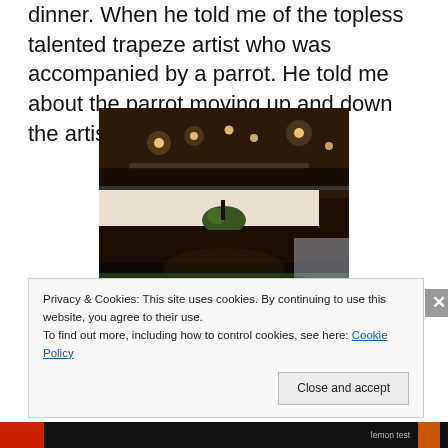dinner. When he told me of the topless talented trapeze artist who was accompanied by a parrot. He told me about the parrot moving up and down the artist's body during the
[Figure (photo): Interior photo of a dimly lit restaurant or bar with high ceilings, warm spotlights on the ceiling, a hanging plant/chandelier in the center, and people visible in the lower portion of the image.]
Privacy & Cookies: This site uses cookies. By continuing to use this website, you agree to their use.
To find out more, including how to control cookies, see here: Cookie Policy
Close and accept